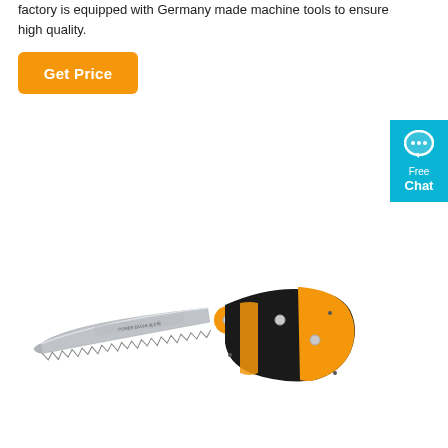factory is equipped with Germany made machine tools to ensure high quality.
[Figure (other): Orange button labeled 'Get Price']
[Figure (other): Blue chat widget with speech bubble icon, 'Free Chat' text]
[Figure (photo): A folding pruning hand saw with a serrated silver blade and an orange and black ergonomic grip handle, shown open at an angle.]